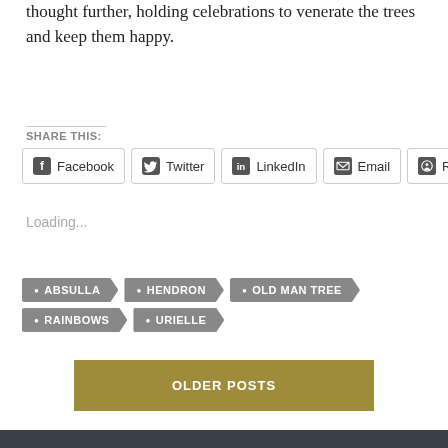thought further, holding celebrations to venerate the trees and keep them happy.
SHARE THIS:
Facebook   Twitter   LinkedIn   Email   Reddit
Loading...
ABSULLA
HENDRON
OLD MAN TREE
RAINBOWS
URIELLE
OLDER POSTS